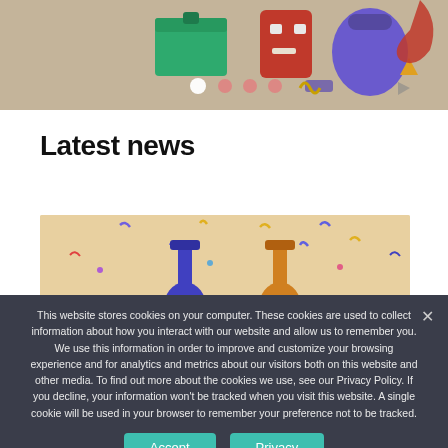[Figure (illustration): Top banner showing illustrated toys/objects including a green chest, red robot, purple bag, and other colorful items on a tan/beige background with carousel dots]
Latest news
[Figure (illustration): Illustration of guitar players with confetti on a beige/tan background, part of a news article image]
This website stores cookies on your computer. These cookies are used to collect information about how you interact with our website and allow us to remember you. We use this information in order to improve and customize your browsing experience and for analytics and metrics about our visitors both on this website and other media. To find out more about the cookies we use, see our Privacy Policy. If you decline, your information won't be tracked when you visit this website. A single cookie will be used in your browser to remember your preference not to be tracked.